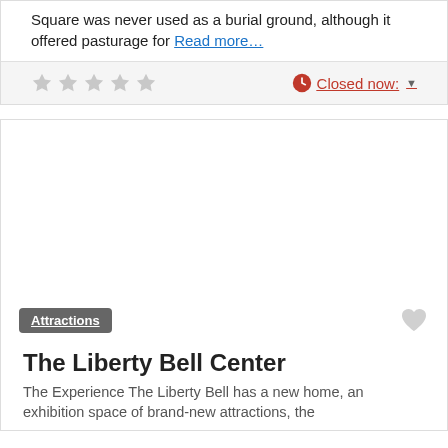Square was never used as a burial ground, although it offered pasturage for Read more…
[Figure (other): Five empty gray star rating icons]
Closed now:
[Figure (photo): Large white/blank photo area for The Liberty Bell Center attraction card]
Attractions
The Liberty Bell Center
The Experience The Liberty Bell has a new home, an exhibition space of brand-new attractions, the